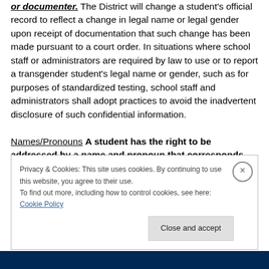or documenter. The District will change a student's official record to reflect a change in legal name or legal gender upon receipt of documentation that such change has been made pursuant to a court order. In situations where school staff or administrators are required by law to use or to report a transgender student's legal name or gender, such as for purposes of standardized testing, school staff and administrators shall adopt practices to avoid the inadvertent disclosure of such confidential information.
Names/Pronouns
A student has the right to be addressed by a name and pronoun that corresponds
Privacy & Cookies: This site uses cookies. By continuing to use this website, you agree to their use.
To find out more, including how to control cookies, see here: Cookie Policy